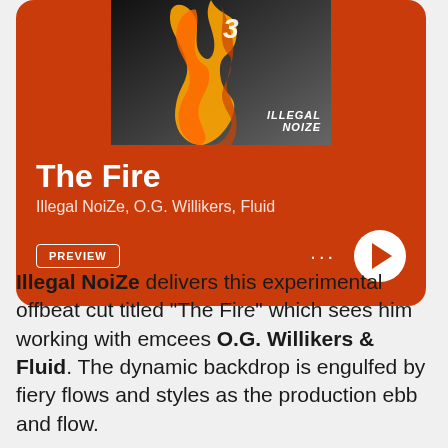[Figure (screenshot): Music streaming card for 'The Fire' by Illegal NoiZe, O.G. Willikers, Fluid. Orange/red background with album art showing flames and the Illegal NoiZe logo. Shows song title, artists, PREVIEW button, dots menu, and play button.]
The Fire
Illegal NoiZe, O.G. Willikers, Fluid
PREVIEW
Illegal NoiZe delivers this experimental offbeat cut titled “The Fire” which sees him working with emcees O.G. Willikers & Fluid. The dynamic backdrop is engulfed by fiery flows and styles as the production ebb and flow.